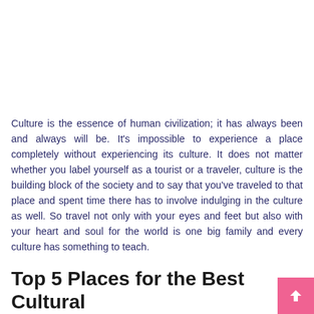Culture is the essence of human civilization; it has always been and always will be. It's impossible to experience a place completely without experiencing its culture. It does not matter whether you label yourself as a tourist or a traveler, culture is the building block of the society and to say that you've traveled to that place and spent time there has to involve indulging in the culture as well. So travel not only with your eyes and feet but also with your heart and soul for the world is one big family and every culture has something to teach.
Top 5 Places for the Best Cultural